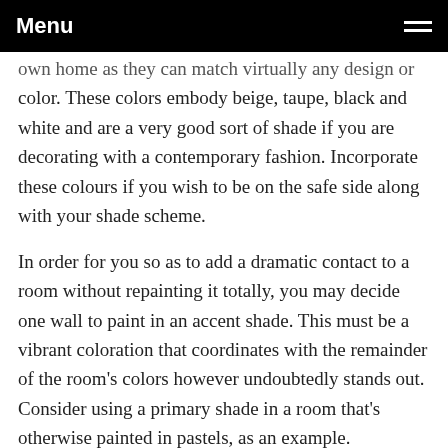Menu
own home as they can match virtually any design or color. These colors embody beige, taupe, black and white and are a very good sort of shade if you are decorating with a contemporary fashion. Incorporate these colours if you wish to be on the safe side along with your shade scheme.
In order for you so as to add a dramatic contact to a room without repainting it totally, you may decide one wall to paint in an accent shade. This must be a vibrant coloration that coordinates with the remainder of the room's colors however undoubtedly stands out. Consider using a primary shade in a room that's otherwise painted in pastels, as an example.